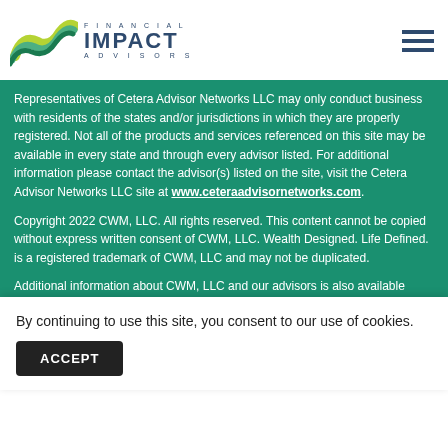[Figure (logo): Financial Impact Advisors logo with green wave graphic and navy blue text]
Representatives of Cetera Advisor Networks LLC may only conduct business with residents of the states and/or jurisdictions in which they are properly registered. Not all of the products and services referenced on this site may be available in every state and through every advisor listed. For additional information please contact the advisor(s) listed on the site, visit the Cetera Advisor Networks LLC site at www.ceteraadvisornetworks.com.
Copyright 2022 CWM, LLC. All rights reserved. This content cannot be copied without express written consent of CWM, LLC. Wealth Designed. Life Defined. is a registered trademark of CWM, LLC and may not be duplicated.
Additional information about CWM, LLC and our advisors is also available online at www.adviserinfo.sec.gov or https://brokercheck.finra.org/. You can view our firm's information on this website by searching for CWM, LLC or by our CRD number 15...
By continuing to use this site, you consent to our use of cookies.